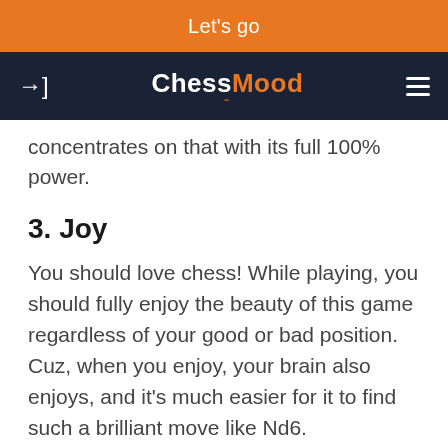Let's go
ChessMood
concentrates on that with its full 100% power.
3. Joy
You should love chess! While playing, you should fully enjoy the beauty of this game regardless of your good or bad position. Cuz, when you enjoy, your brain also enjoys, and it's much easier for it to find such a brilliant move like Nd6.
I believe that these 3 components are essential for having the RIGHT MOOD, which automatically